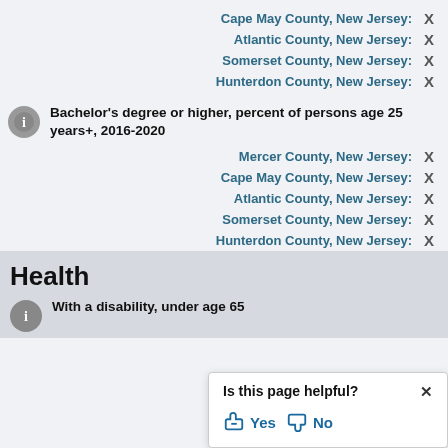Cape May County, New Jersey: X
Atlantic County, New Jersey: X
Somerset County, New Jersey: X
Hunterdon County, New Jersey: X
Bachelor's degree or higher, percent of persons age 25 years+, 2016-2020
Mercer County, New Jersey: X
Cape May County, New Jersey: X
Atlantic County, New Jersey: X
Somerset County, New Jersey: X
Hunterdon County, New Jersey: X
Health
With a disability, under age 65, percent, 2016-2020